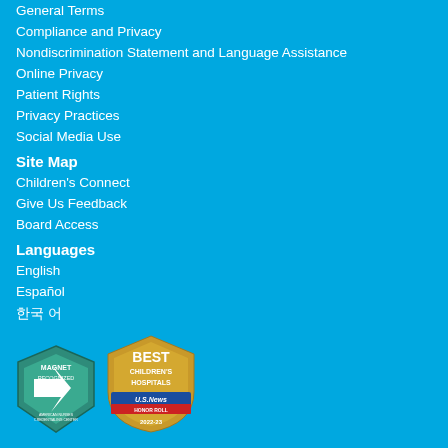General Terms
Compliance and Privacy
Nondiscrimination Statement and Language Assistance
Online Privacy
Patient Rights
Privacy Practices
Social Media Use
Site Map
Children's Connect
Give Us Feedback
Board Access
Languages
English
Español
한국 어
[Figure (logo): Magnet Recognized - American Nurses Credentialing Center badge]
[Figure (logo): Best Children's Hospitals - U.S. News Honor Roll 2022-23 badge]